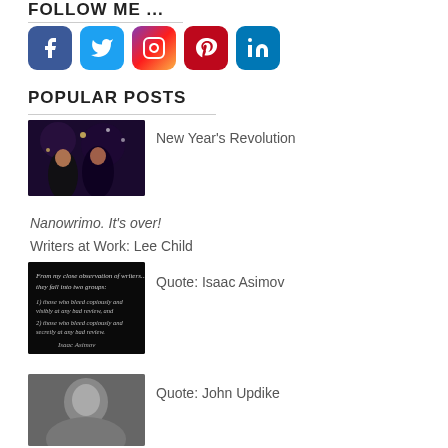FOLLOW ME ...
[Figure (infographic): Row of five social media icons: Facebook (blue), Twitter (light blue), Instagram (gradient pink/purple), Pinterest (red), LinkedIn (blue)]
POPULAR POSTS
[Figure (photo): Two women celebrating New Year's with drinks and sparkles]
New Year's Revolution
Nanowrimo. It's over!
Writers at Work: Lee Child
[Figure (photo): Dark background with Isaac Asimov quote about writers]
Quote: Isaac Asimov
[Figure (photo): Black and white photo of a person]
Quote: John Updike